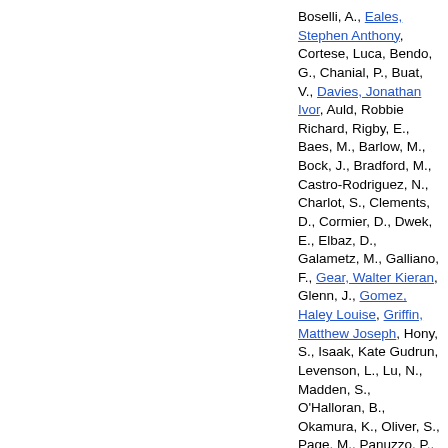Boselli, A., Eales, Stephen Anthony, Cortese, Luca, Bendo, G., Chanial, P., Buat, V., Davies, Jonathan Ivor, Auld, Robbie Richard, Rigby, E., Baes, M., Barlow, M., Bock, J., Bradford, M., Castro-Rodriguez, N., Charlot, S., Clements, D., Cormier, D., Dwek, E., Elbaz, D., Galametz, M., Galliano, F., Gear, Walter Kieran, Glenn, J., Gomez, Haley Louise, Griffin, Matthew Joseph, Hony, S., Isaak, Kate Gudrun, Levenson, L., Lu, N., Madden, S., O'Halloran, B., Okamura, K., Oliver, S., Page, M., Panuzzo, P., Papageorgiou, Andreas, Parkin, T., Perez-Fournon, I., Pohlen, Michael, Rangwala, N., Roussel, H., Rykala, Adam John, Sacchi, N., Sauvage, M., Schulz, B., Schirm, M., Smith, Matthew W.